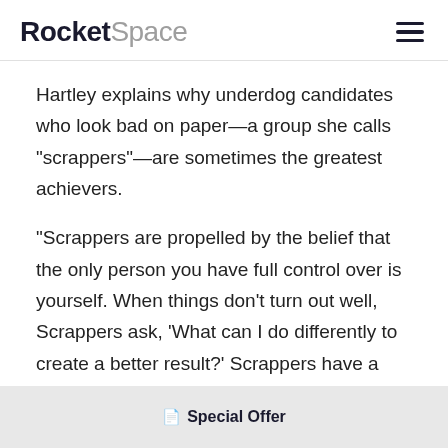RocketSpace
Hartley explains why underdog candidates who look bad on paper—a group she calls "scrappers"—are sometimes the greatest achievers.
"Scrappers are propelled by the belief that the only person you have full control over is yourself. When things don't turn out well, Scrappers ask, 'What can I do differently to create a better result?' Scrappers have a sense of purpose that prevents them from giving up on themselves," Hartley says .
Special Offer